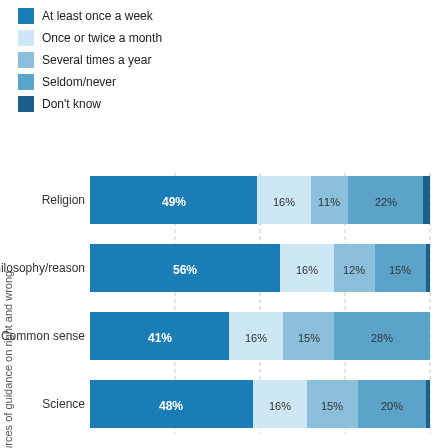At least once a week
Once or twice a month
Several times a year
Seldom/never
Don't know
[Figure (stacked-bar-chart): ]